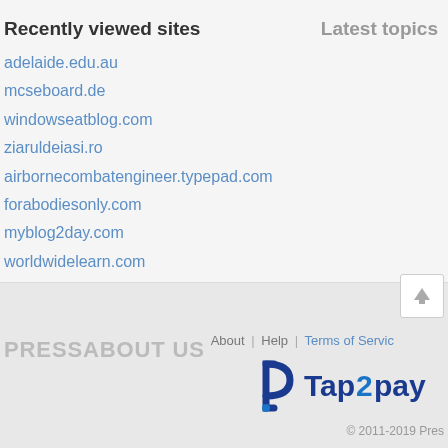Recently viewed sites
Latest topics
adelaide.edu.au
mcseboard.de
windowseatblog.com
ziaruldeiasi.ro
airbornecombatengineer.typepad.com
forabodiesonly.com
myblog2day.com
worldwidelearn.com
computerhelpers.wordpress.com
earlyretirementextreme.com
PRESSABOUT US   About | Help | Terms of Service   Tap2pay   © 2011-2019 Pres